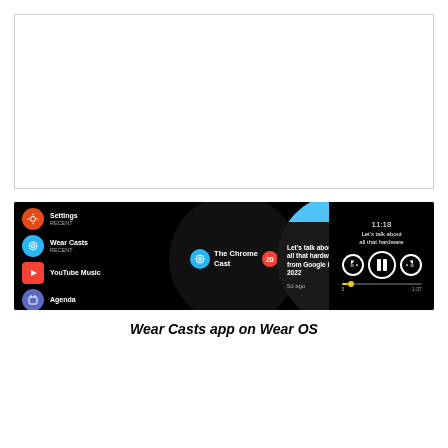[Figure (other): Empty white box with light border, placeholder image area]
[Figure (screenshot): Screenshot of Wear Casts app on Wear OS showing app list with Settings, Wear Casts, YouTube Music, Agenda; a circular podcast list view showing The Chrome Cast with badge 20; an episode detail circle showing article about Google I/O 2022 hardware from 5d ago; and a player screen showing 11:18 time with playback controls and progress bar]
Wear Casts app on Wear OS